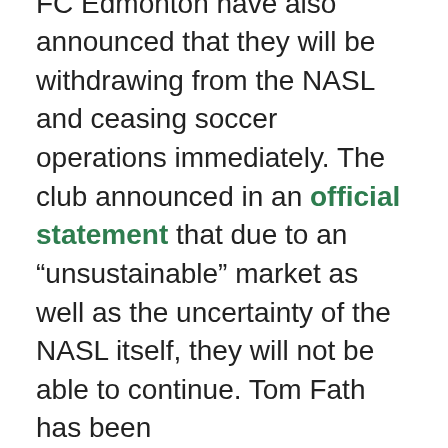FC Edmonton have also announced that they will be withdrawing from the NASL and ceasing soccer operations immediately. The club announced in an official statement that due to an “unsustainable” market as well as the uncertainty of the NASL itself, they will not be able to continue. Tom Fath has been